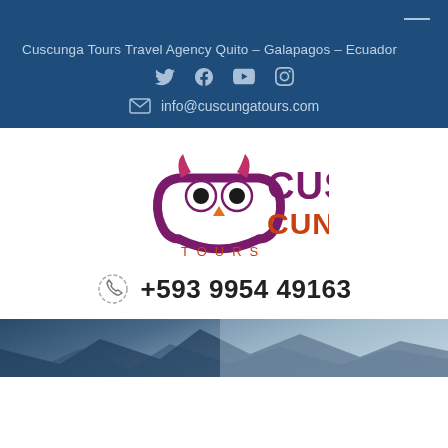Cuscunga Tours Travel Agency Quito – Galapagos – Ecuador
info@cuscungatours.com
[Figure (logo): Cuscunga Tours owl logo with text CUS CUNGA TOURS]
+593 9954 49163
[Figure (photo): Mountain landscape at the bottom of the page]